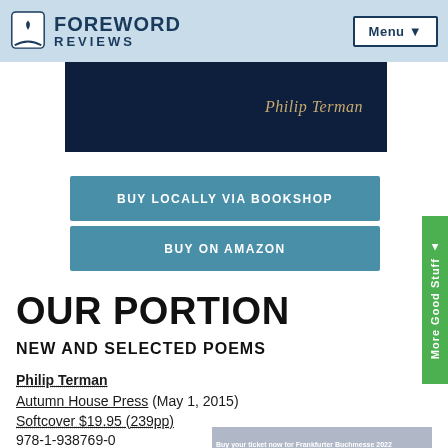FOREWORD REVIEWS | Menu
[Figure (illustration): Book cover partial view - dark navy background with author name Philip Terman in gold italic serif font]
BUY LOCALLY VIA BOOKSHOP
BUY ON AMAZON
OUR PORTION
NEW AND SELECTED POEMS
Philip Terman
Autumn House Press (May 1, 2015)
Softcover $19.95 (239pp)
978-1-938769-0...
[Figure (screenshot): Advertisement banner: Buy your ticket now for Frankfurter Buchmesse 2022. The publishing industry meets again. 19 - 23 October 2022.]